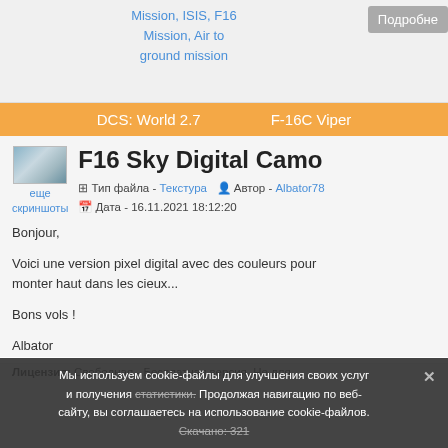Mission, ISIS, F16 Mission, Air to ground mission
Подробне
DCS: World 2.7    F-16C Viper
F16 Sky Digital Camo
еще скриншоты
Тип файла - Текстура   Автор - Albator78
Дата - 16.11.2021 18:12:20
Bonjour,

Voici une version pixel digital avec des couleurs pour monter haut dans les cieux...

Bons vols !

Albator
Лицензия: Свободная - Бесплатная версия. Не для распространения.
Мы используем cookie-файлы для улучшения своих услуг и получения статистики. Продолжая навигацию по веб-сайту, вы соглашаетесь на использование cookie-файлов.
Скачано: 321